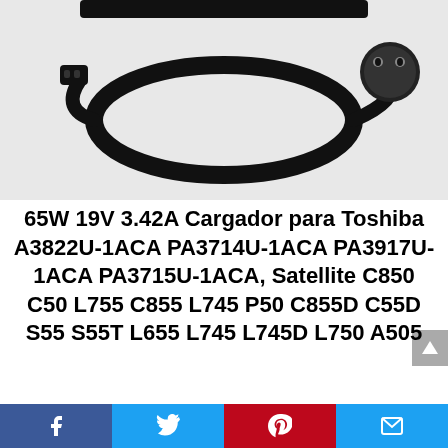[Figure (photo): Photo of a black laptop power cable/cord with a schuko plug on one end, coiled on a white background, with part of a black power adapter visible at the top edge.]
65W 19V 3.42A Cargador para Toshiba A3822U-1ACA PA3714U-1ACA PA3917U-1ACA PA3715U-1ACA, Satellite C850 C50 L755 C855 L745 P50 C855D C55D S55 S55T L655 L745 L745D L750 A505